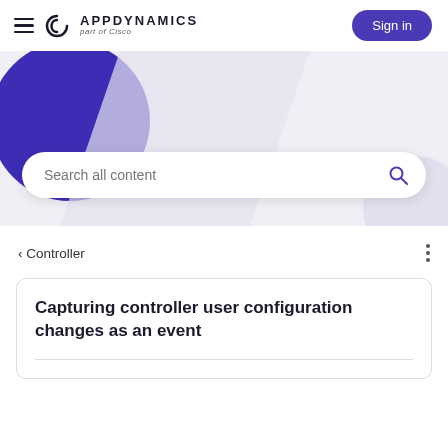AppDynamics part of Cisco — Sign in
[Figure (screenshot): AppDynamics documentation portal hero banner with purple circle decoration, diagonal chevron shape, and a search bar reading 'Search all content']
< Controller
Capturing controller user configuration changes as an event